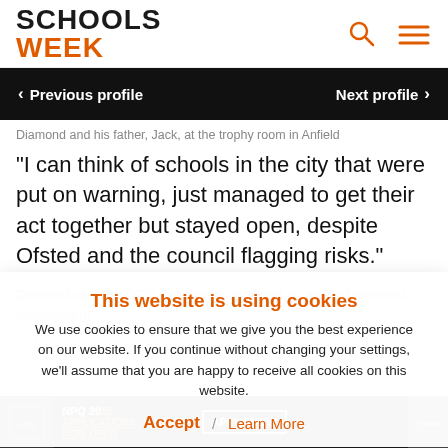SCHOOLS WEEK
Previous profile | Next profile
Diamond and his father, Jack, at the trophy room in Anfield
“I can think of schools in the city that were put on warning, just managed to get their act together but stayed open, despite Ofsted and the council flagging risks.”
Diamond said the DfE’s “disposition is based on an old-fashioned… independent … yet…
This website is using cookies
We use cookies to ensure that we give you the best experience on our website. If you continue without changing your settings, we’ll assume that you are happy to receive all cookies on this website.
Accept | Learn More
[Figure (other): Advertisement banner for NPQ 2025 applications now open, funded, apply now]